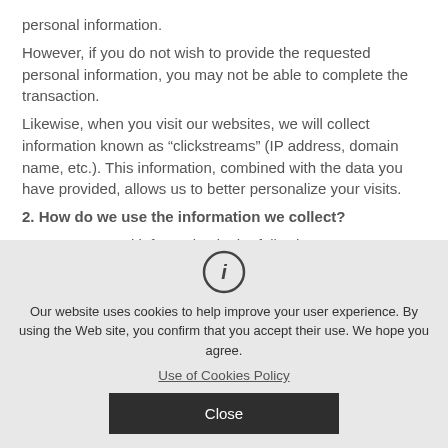personal information.
However, if you do not wish to provide the requested personal information, you may not be able to complete the transaction.
Likewise, when you visit our websites, we will collect information known as “clickstreams” (IP address, domain name, etc.). This information, combined with the data you have provided, allows us to better personalize your visits.
2. How do we use the information we collect?
We use personal information in the following ways:
1. To provide you with information on product updates, new products, services, newsletters, informational emails and
Our website uses cookies to help improve your user experience. By using the Web site, you confirm that you accept their use. We hope you agree.
Use of Cookies Policy
Close